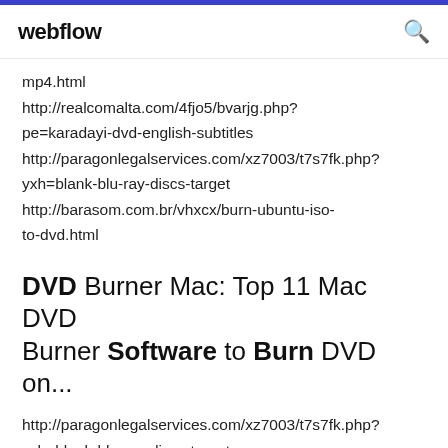webflow
mp4.html
http://realcomalta.com/4fjo5/bvarjg.php?pe=karadayi-dvd-english-subtitles
http://paragonlegalservices.com/xz7003/t7s7fk.php?yxh=blank-blu-ray-discs-target
http://barasom.com.br/vhxcx/burn-ubuntu-iso-to-dvd.html
DVD Burner Mac: Top 11 Mac DVD Burner Software to Burn DVD on...
http://paragonlegalservices.com/xz7003/t7s7fk.php?yxh=blank-blu-ray-discs-target